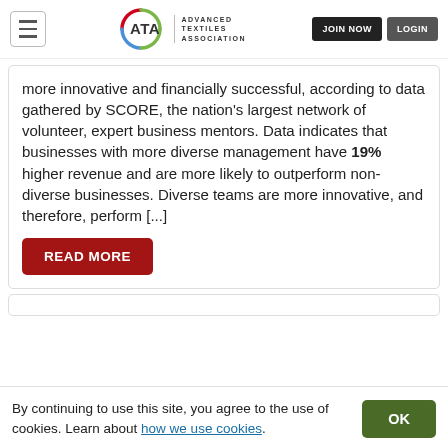ATA Advanced Textiles Association | JOIN NOW | LOGIN
more innovative and financially successful, according to data gathered by SCORE, the nation's largest network of volunteer, expert business mentors. Data indicates that businesses with more diverse management have 19% higher revenue and are more likely to outperform non-diverse businesses. Diverse teams are more innovative, and therefore, perform [...]
READ MORE
By continuing to use this site, you agree to the use of cookies. Learn about how we use cookies.